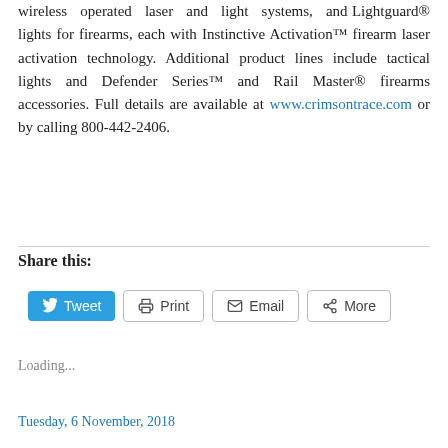wireless operated laser and light systems, and Lightguard® lights for firearms, each with Instinctive Activation™ firearm laser activation technology. Additional product lines include tactical lights and Defender Series™ and Rail Master® firearms accessories. Full details are available at www.crimsontrace.com or by calling 800-442-2406.
Share this:
[Figure (screenshot): Social sharing buttons: Tweet (blue Twitter button), Print, Email, More]
Loading...
Tuesday, 6 November, 2018